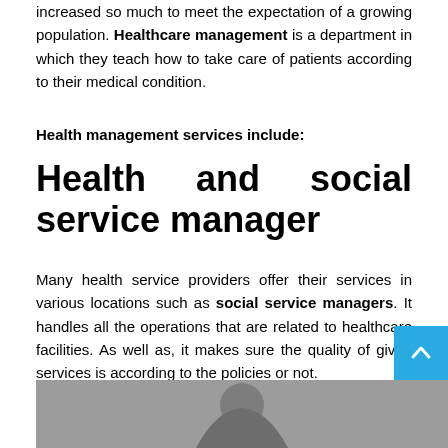increased so much to meet the expectation of a growing population. Healthcare management is a department in which they teach how to take care of patients according to their medical condition.
Health management services include:
Health and social service manager
Many health service providers offer their services in various locations such as social service managers. It handles all the operations that are related to healthcare facilities. As well as, it makes sure the quality of given services is according to the policies or not.
[Figure (photo): Photo of a person, partially visible at bottom of page]